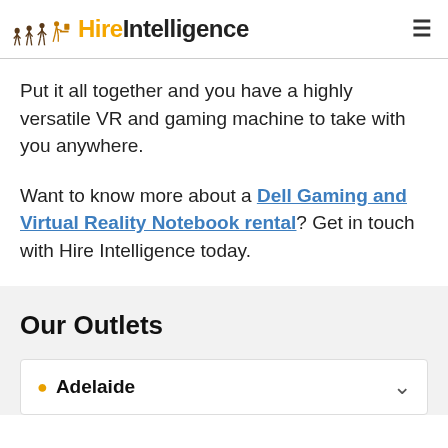Hire Intelligence
Put it all together and you have a highly versatile VR and gaming machine to take with you anywhere.
Want to know more about a Dell Gaming and Virtual Reality Notebook rental? Get in touch with Hire Intelligence today.
Our Outlets
Adelaide